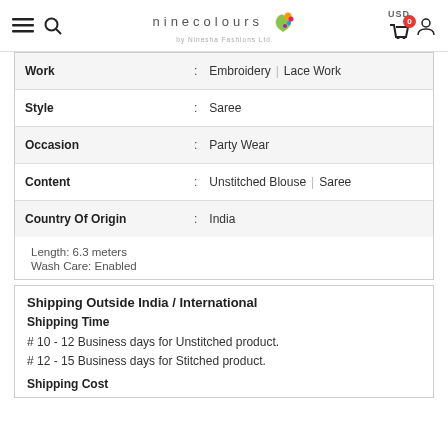ninecolours by Ninesha Fashions Ltd. USD 0 (cart)
| Attribute |  | Value |
| --- | --- | --- |
| Work | : | Embroidery | Lace Work |
| Style | : | Saree |
| Occasion | : | Party Wear |
| Content | : | Unstitched Blouse | Saree |
| Country Of Origin | : | India |
Length: 6.3 meters
Wash Care: Enabled
Shipping Outside India / International
Shipping Time
# 10 - 12 Business days for Unstitched product.
# 12 - 15 Business days for Stitched product.
Shipping Cost